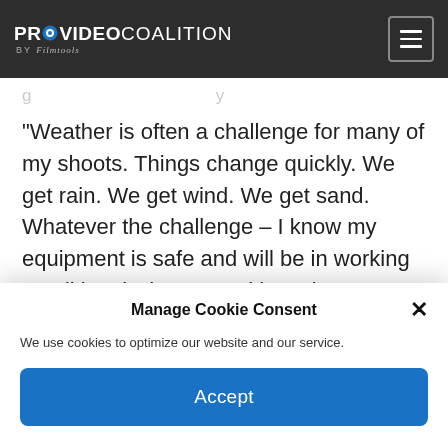PROVIDEO COALITION BY Filmtools
“Weather is often a challenge for many of my shoots. Things change quickly. We get rain. We get wind. We get sand. Whatever the challenge – I know my equipment is safe and will be in working conditional when I need it, as long as I’ve got everything in Petrol bags.”
The material Tobias Ehleben captured aired on
Manage Cookie Consent
We use cookies to optimize our website and our service.
Accept